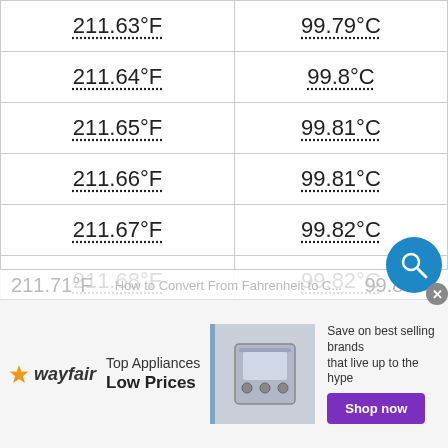| °F | °C |
| --- | --- |
| 211.63°F | 99.79°C |
| 211.64°F | 99.8°C |
| 211.65°F | 99.81°C |
| 211.66°F | 99.81°C |
| 211.67°F | 99.82°C |
| 211.68°F | 99.82°C |
| 211.69°F | 99.83°C |
| 211.7°F | 99.83°C |
| 211.71°F | 99.84°C |
[Figure (other): Wayfair advertisement banner — Top Appliances, Low Prices, Shop now button, appliance image]